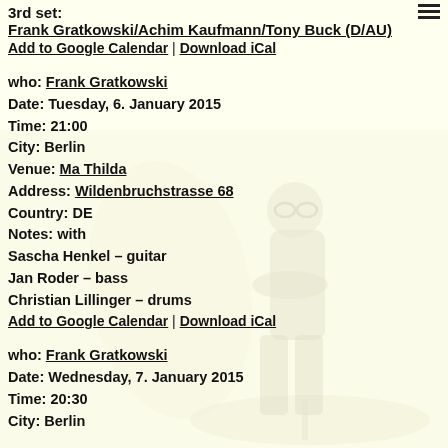3rd set:
Frank Gratkowski/Achim Kaufmann/Tony Buck (D/AU)
Add to Google Calendar | Download iCal
who: Frank Gratkowski
Date: Tuesday, 6. January 2015
Time: 21:00
City: Berlin
Venue: Ma Thilda
Address: Wildenbruchstrasse 68
Country: DE
Notes: with
Sascha Henkel – guitar
Jan Roder – bass
Christian Lillinger – drums
Add to Google Calendar | Download iCal
who: Frank Gratkowski
Date: Wednesday, 7. January 2015
Time: 20:30
City: Berlin